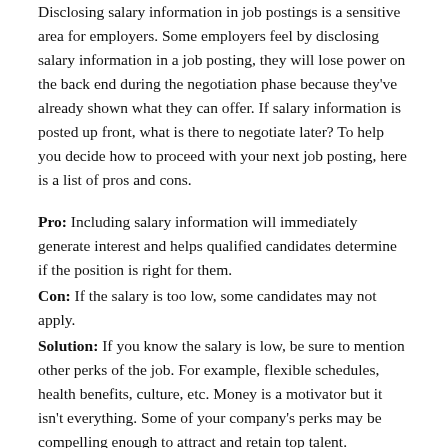Disclosing salary information in job postings is a sensitive area for employers. Some employers feel by disclosing salary information in a job posting, they will lose power on the back end during the negotiation phase because they've already shown what they can offer. If salary information is posted up front, what is there to negotiate later? To help you decide how to proceed with your next job posting, here is a list of pros and cons.
Pro: Including salary information will immediately generate interest and helps qualified candidates determine if the position is right for them.
Con: If the salary is too low, some candidates may not apply.
Solution: If you know the salary is low, be sure to mention other perks of the job. For example, flexible schedules, health benefits, culture, etc. Money is a motivator but it isn't everything. Some of your company's perks may be compelling enough to attract and retain top talent.
Pro: Disclosing salary information demonstrates your